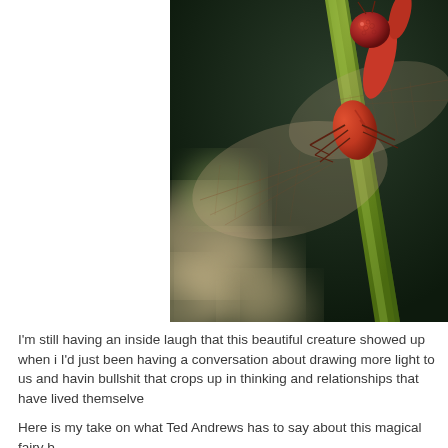[Figure (photo): Close-up macro photograph of a red dragonfly perched on a green plant stem. The dragonfly has large compound red eyes, translucent wings with intricate venation, and a red body. The background is blurred dark green and bokeh of pale pink/yellow flowers.]
I'm still having an inside laugh that this beautiful creature showed up when i I'd just been having a conversation about drawing more light to us and havin bullshit that crops up in thinking and relationships that have lived themselve
Here is my take on what Ted Andrews has to say about this magical fairy b
Dragonfly's bright colors take time to develop, reflecting that with maturity o and undergo metamorphosis when they change from nymph to fly. As they g